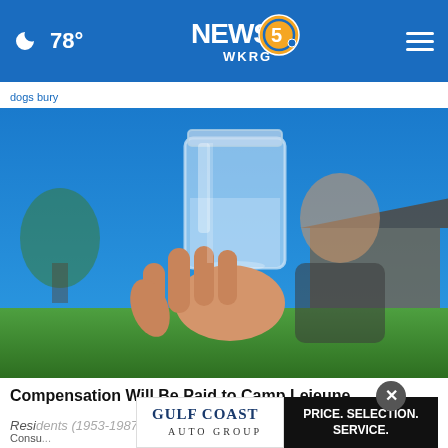NEWS 5 WKRG — 78°
dogs bury
[Figure (photo): A person holding up a glass mason jar filled with clear water outdoors, with a blue sky and a house visible in the background.]
Compensation Will Be Paid to Camp Lejeune Residents (1953-1987): See Wh...
Consu...
[Figure (logo): Gulf Coast Auto Group logo with text PRICE. SELECTION. SERVICE. on black background]